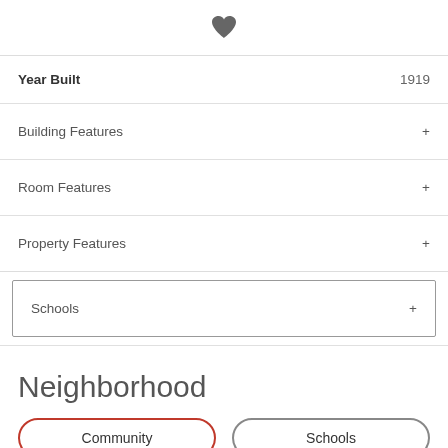[Figure (illustration): Heart icon (favorite/save icon) centered at top of page]
| Field | Value |
| --- | --- |
| Year Built | 1919 |
| Building Features | + |
| Room Features | + |
| Property Features | + |
| Schools | + |
Neighborhood
Community
Schools